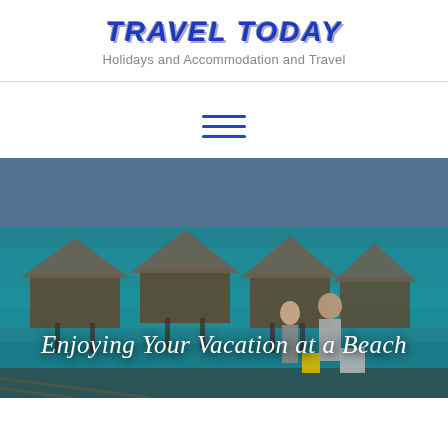Travel Today
Holidays and Accommodation and Travel
[Figure (other): Hamburger menu icon — three horizontal blue lines]
[Figure (photo): Beach resort photo showing overwater bungalows with thatched roofs in turquoise water, with two people standing on a dock with luggage. Text overlay reads: Enjoying Your Vacation at a Beach]